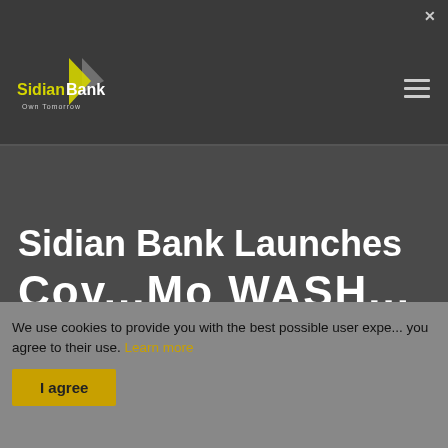[Figure (logo): Sidian Bank logo with yellow arrow/flag graphic and tagline 'Own Tomorrow']
Sidian Bank Launches
Cov...Mo WASH...
We use cookies to provide you with the best possible user experience. By continuing to use this website you agree to their use. Learn more
I agree